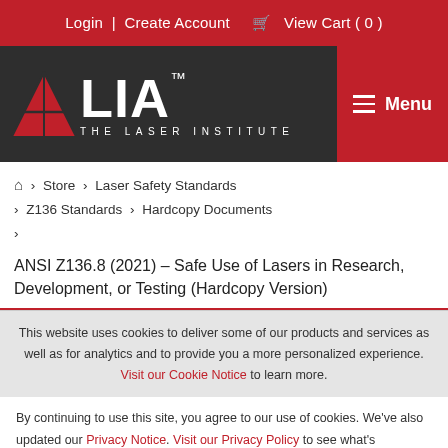Login | Create Account   View Cart (0)
[Figure (logo): LIA - The Laser Institute logo on dark background with red triangle icon and Menu button]
Home > Store > Laser Safety Standards > Z136 Standards > Hardcopy Documents >
ANSI Z136.8 (2021) – Safe Use of Lasers in Research, Development, or Testing (Hardcopy Version)
This website uses cookies to deliver some of our products and services as well as for analytics and to provide you a more personalized experience. Visit our Cookie Notice to learn more.
By continuing to use this site, you agree to our use of cookies. We've also updated our Privacy Notice. Visit our Privacy Policy to see what's